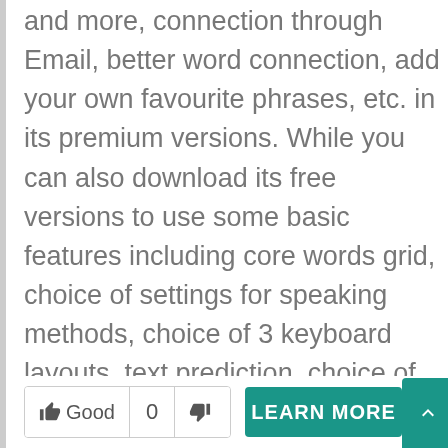and more, connection through Email, better word connection, add your own favourite phrases, etc. in its premium versions. While you can also download its free versions to use some basic features including core words grid, choice of settings for speaking methods, choice of 3 keyboard layouts, text prediction, choice of the male or the female voice, core phrases grids, and various other features. So just download Verbally Premium and start speaking your own language in your own way.